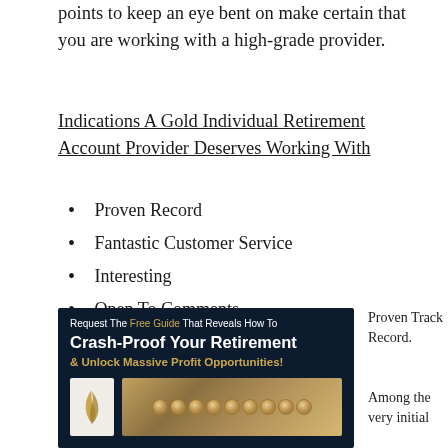points to keep an eye bent on make certain that you are working with a high-grade provider.
Indications A Gold Individual Retirement Account Provider Deserves Working With
Proven Record
Fantastic Customer Service
Interesting
Open To Comments
[Figure (illustration): Advertisement banner with dark navy background. Text reads: 'Request The Free Guide That Reveals How To Crash-Proof Your Retirement & Unlock Massive Profit Opportunities!' with an image of a white book with gold swoosh logo and gold/silver coins.]
Proven Track Record.
Among the very initial